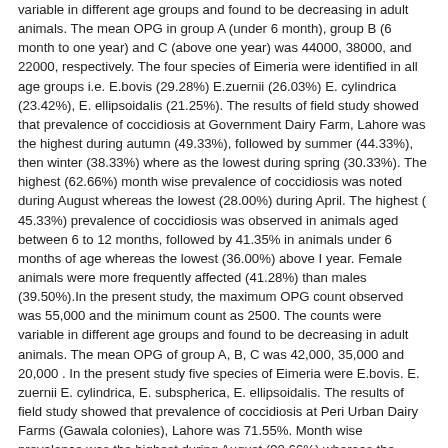variable in different age groups and found to be decreasing in adult animals. The mean OPG in group A (under 6 month), group B (6 month to one year) and C (above one year) was 44000, 38000, and 22000, respectively. The four species of Eimeria were identified in all age groups i.e. E.bovis (29.28%) E.zuernii (26.03%) E. cylindrica (23.42%), E. ellipsoidalis (21.25%). The results of field study showed that prevalence of coccidiosis at Government Dairy Farm, Lahore was the highest during autumn (49.33%), followed by summer (44.33%), then winter (38.33%) where as the lowest during spring (30.33%). The highest (62.66%) month wise prevalence of coccidiosis was noted during August whereas the lowest (28.00%) during April. The highest ( 45.33%) prevalence of coccidiosis was observed in animals aged between 6 to 12 months, followed by 41.35% in animals under 6 months of age whereas the lowest (36.00%) above I year. Female animals were more frequently affected (41.28%) than males (39.50%).In the present study, the maximum OPG count observed was 55,000 and the minimum count as 2500. The counts were variable in different age groups and found to be decreasing in adult animals. The mean OPG of group A, B, C was 42,000, 35,000 and 20,000 . In the present study five species of Eimeria were E.bovis. E. zuernii E. cylindrica, E. subspherica, E. ellipsoidalis. The results of field study showed that prevalence of coccidiosis at Peri Urban Dairy Farms (Gawala colonies), Lahore was 71.55%. Month wise prevalence was the highest during August (90.66%) whereas the lowest (48%) during April. The seasonal prevalence indicated that it was the highest during autumn (84.00%), followed by summer (78.33 %), then winter (69.33%) whereas the lowest during spring (50.00%). The highest prevalence of coccidiosis (80.66%) was observed in animals under 6 months of age, whereas the lowest (62.33%) in animals above I year. Prevalence of coccidiosis in animals aged between 6months to 1 year was 71.66%. No coccidial oocysts were detected in calves less than 25 days old. Prevalence of coccidiosis was higher (74.61%) in females than in males (63.60%). In this study, the maximum OPG count observed was 65,000 and the minimum count as 2800. The counts were variable in different age groups and found to be decreasing in adult